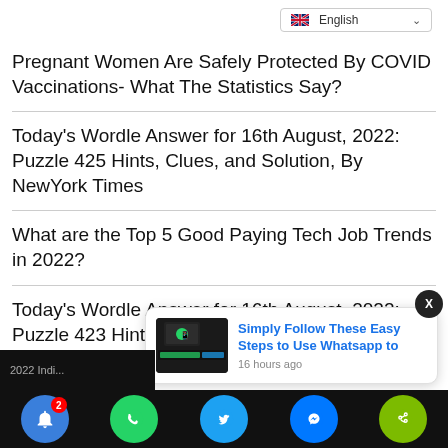[Figure (screenshot): Language selector dropdown showing UK flag and 'English' text with chevron]
Pregnant Women Are Safely Protected By COVID Vaccinations- What The Statistics Say?
Today's Wordle Answer for 16th August, 2022: Puzzle 425 Hints, Clues, and Solution, By NewYork Times
What are the Top 5 Good Paying Tech Job Trends in 2022?
Today's Wordle Answer for 16th August, 2022: Puzzle 423 Hints, NYT
[Figure (screenshot): Push notification popup showing 'Simply Follow These Easy Steps to Use Whatsapp to' article link with a phone/app image thumbnail and timestamp '16 hours ago'. Close button X at top right. Bottom navigation bar with bell icon (badge 2), WhatsApp, Twitter, Messenger, and share icons.]